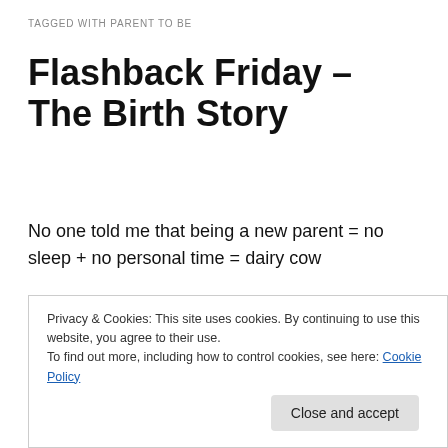TAGGED WITH PARENT TO BE
Flashback Friday – The Birth Story
No one told me that being a new parent = no sleep + no personal time = dairy cow
Apologies for the lack of will power and energy posts
If it counts for anything, I actually drafted this post in FEBRUARY... I somehow forgot to post it =(
Privacy & Cookies: This site uses cookies. By continuing to use this website, you agree to their use.
To find out more, including how to control cookies, see here: Cookie Policy